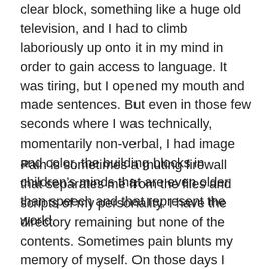clear block, something like a huge old television, and I had to climb laboriously up onto it in my mind in order to gain access to language. It was tiring, but I opened my mouth and made sentences. But even in those few seconds where I was technically, momentarily non-verbal, I had image and color, the building blocks in children's minds that are even older than speech and that represent the world.
Pain is sometimes a muting firewall that separates me from the files and scripts of my personality. I have the directory remaining but none of the contents. Sometimes pain blunts my memory of myself. On those days I reach into the toolbox of my head blindly, grasping and hoping I can make “Sonya” do what is expected of “Sonya” in social situations. Even in those